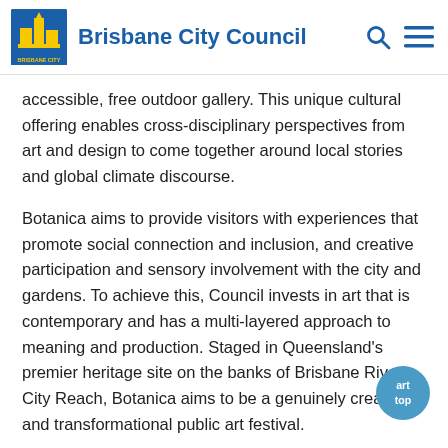Brisbane City Council
accessible, free outdoor gallery. This unique cultural offering enables cross-disciplinary perspectives from art and design to come together around local stories and global climate discourse.
Botanica aims to provide visitors with experiences that promote social connection and inclusion, and creative participation and sensory involvement with the city and gardens. To achieve this, Council invests in art that is contemporary and has a multi-layered approach to meaning and production. Staged in Queensland's premier heritage site on the banks of Brisbane River's City Reach, Botanica aims to be a genuinely creative and transformational public art festival.